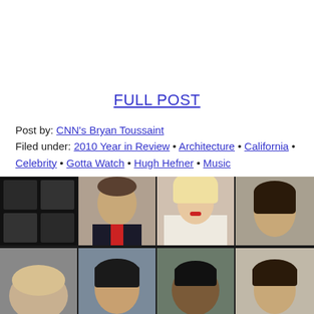FULL POST
Post by: CNN's Bryan Toussaint
Filed under: 2010 Year in Review • Architecture • California • Celebrity • Gotta Watch • Hugh Hefner • Music
[Figure (photo): Photo collage grid showing multiple celebrity/news figures including a blonde woman in white jacket, a man in suit, a woman, President Obama, and others on a dark grid background]